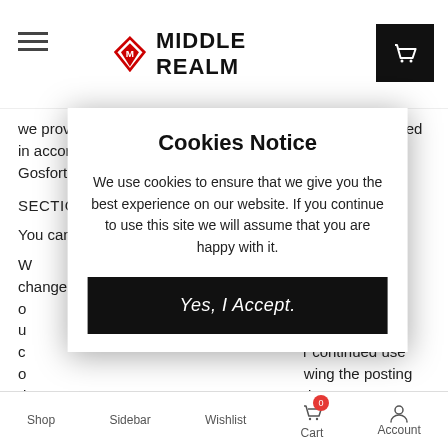MIDDLE REALM
we provide you Services shall be governed by and construed in accordance with the laws of T&R Limited, c/o RMT Gosforth Park Ave, Newcastle upon Tyne, NE12 8EG
SECTION 19 – CHANGES TO TERMS OF SERVICE
You can review the most current version of the Terms of S[ervice]...
W[e reserve the right to] update, change o[r replace] y posting u[pdates] responsibility to c[heck] r continued use o[f] wing the posting d[ate] titutes a[cceptance]
[Figure (other): Cookies Notice modal overlay with title 'Cookies Notice', body text about cookie use, and a 'Yes, I Accept.' button]
Shop  Sidebar  Wishlist  Cart  Account